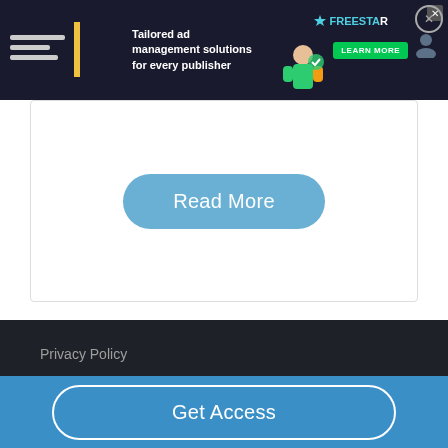[Figure (screenshot): Advertisement banner for Freestar: 'Tailored ad management solutions for every publisher' with green Learn More button, dark background with character illustration]
Read More
Privacy Policy
CA Privacy Policy
Contact
Terms of Service
Get Access